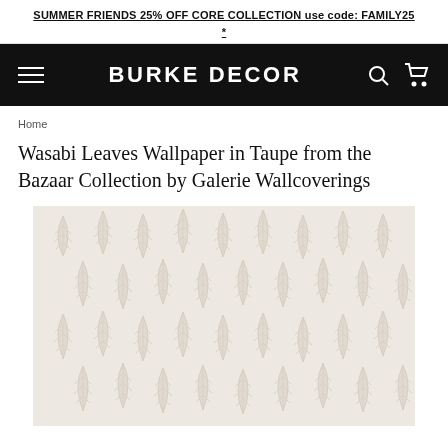SUMMER FRIENDS 25% OFF CORE COLLECTION use code: FAMILY25 *
BURKE DECOR
Home
Wasabi Leaves Wallpaper in Taupe from the Bazaar Collection by Galerie Wallcoverings
[Figure (photo): Close-up product photo of Wasabi Leaves Wallpaper in Taupe — a repeating pattern of stylized leaf/fern fronds in a light warm beige/taupe tone on an off-white background.]